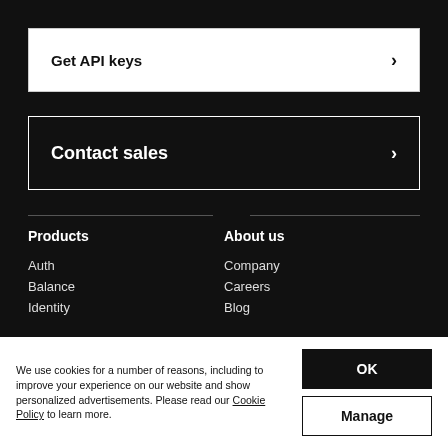Get API keys →
Contact sales →
Products
Auth
Balance
Identity
About us
Company
Careers
Blog
We use cookies for a number of reasons, including to improve your experience on our website and show personalized advertisements. Please read our Cookie Policy to learn more.
OK
Manage